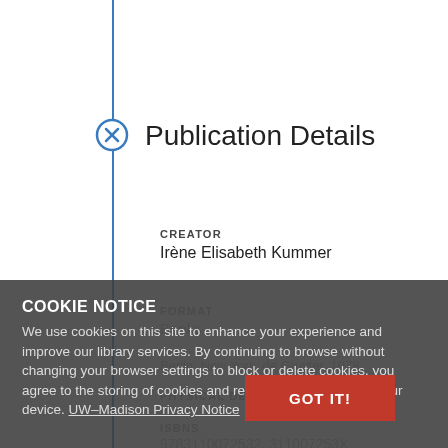Publication Details
CREATOR
Irène Elisabeth Kummer
FORMAT
Books
Berlin; New York: de Gruyter, 1978
PHYSICAL DETAILS
ISBNS
9783110072532, 311007253X
COOKIE NOTICE
We use cookies on this site to enhance your experience and improve our library services. By continuing to browse without changing your browser settings to block or delete cookies, you agree to the storing of cookies and related technologies on your device. UW–Madison Privacy Notice
GOT IT!